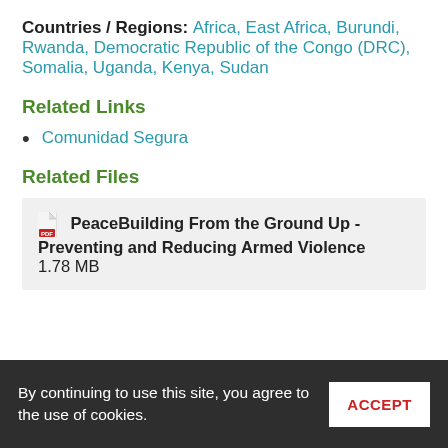Countries / Regions: Africa, East Africa, Burundi, Rwanda, Democratic Republic of the Congo (DRC), Somalia, Uganda, Kenya, Sudan
Related Links
Comunidad Segura
Related Files
PeaceBuilding From the Ground Up - Preventing and Reducing Armed Violence  1.78 MB
By continuing to use this site, you agree to the use of cookies.